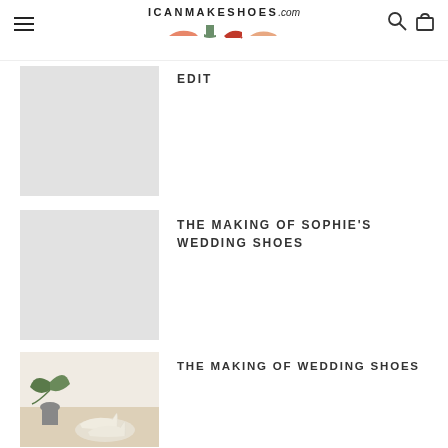ICANMAKESHOES.com
EDIT
THE MAKING OF SOPHIE'S WEDDING SHOES
THE MAKING OF WEDDING SHOES